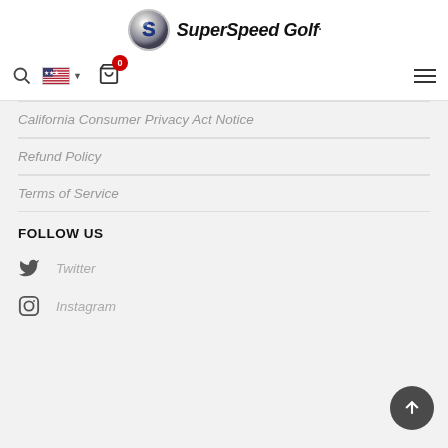[Figure (logo): SuperSpeed Golf logo with metallic sphere bearing blue S and bold italic text 'SuperSpeed Golf.']
[Figure (screenshot): Navigation bar with search icon, US flag dropdown, shopping cart with 0 badge, hamburger menu]
California Consumer Privacy Act Notice
Refund Policy
Terms of Service
FOLLOW US
Twitter
Instagram